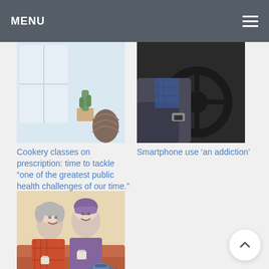MENU
[Figure (photo): Indoor scene with cactus and woven vase near a window]
[Figure (photo): Person driving a car, hand on steering wheel]
Cookery classes on prescription: time to tackle “one of the greatest public health challenges of our time.”
Smartphone use ‘an addiction’
[Figure (photo): Two elderly women sitting on a sofa, holding cups of tea]